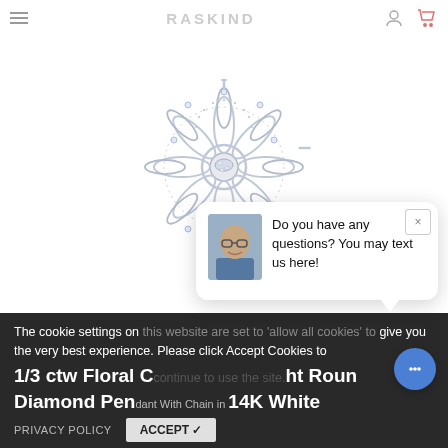RASKIND [logo navigation bar with hamburger menu, user icon, cart icon]
[Figure (photo): Close-up product photo of a silver/white gold floral diamond pendant necklace with intricate petal design, milgrain detailing, and round diamonds set throughout, with ASHI brand watermark in lower right]
Do you have any questions? You may text us here!
The cookie settings on this website are set to 'allow all cookies' to give you the very best experience. Please click Accept Cookies to continue to use the site.
1/3 ctw Floral Cluster Right Round Diamond Pendant With Chain in 14K White
PRIVACY POLICY   ACCEPT ✓